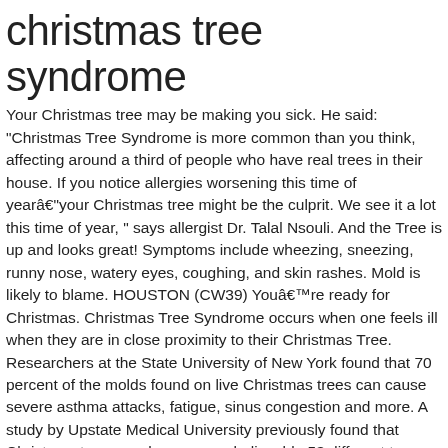christmas tree syndrome
Your Christmas tree may be making you sick. He said: "Christmas Tree Syndrome is more common than you think, affecting around a third of people who have real trees in their house. If you notice allergies worsening this time of yearâyour Christmas tree might be the culprit. We see it a lot this time of year, " says allergist Dr. Talal Nsouli. And the Tree is up and looks great! Symptoms include wheezing, sneezing, runny nose, watery eyes, coughing, and skin rashes. Mold is likely to blame. HOUSTON (CW39) Youâre ready for Christmas. Christmas Tree Syndrome occurs when one feels ill when they are in close proximity to their Christmas Tree. Researchers at the State University of New York found that 70 percent of the molds found on live Christmas trees can cause severe asthma attacks, fatigue, sinus congestion and more. A study by Upstate Medical University previously found that Christmas trees can house an unbelievable 53 different types of mould, plus pollen from other trees that get stuck in the bark. During the holiday season, it's common for some to experience what experts call âChristmas tree syndromeâ. Is Christmas tree syndrome a real thing? The National Christmas Tree Association said there was a 20% increase in real tree sales between 2017 and 2018 and only a 4%